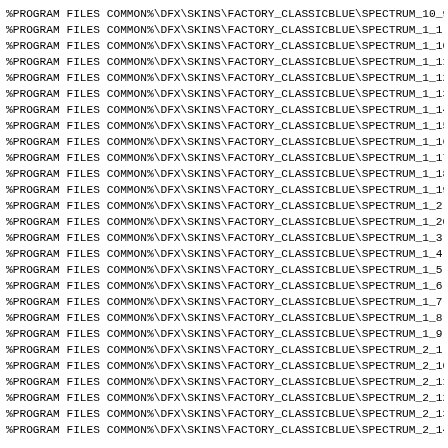%PROGRAM FILES COMMON%\DFX\SKINS\FACTORY_CLASSICBLUE\SPECTRUM_10_9
%PROGRAM FILES COMMON%\DFX\SKINS\FACTORY_CLASSICBLUE\SPECTRUM_1_1.
%PROGRAM FILES COMMON%\DFX\SKINS\FACTORY_CLASSICBLUE\SPECTRUM_1_10
%PROGRAM FILES COMMON%\DFX\SKINS\FACTORY_CLASSICBLUE\SPECTRUM_1_11
%PROGRAM FILES COMMON%\DFX\SKINS\FACTORY_CLASSICBLUE\SPECTRUM_1_12
%PROGRAM FILES COMMON%\DFX\SKINS\FACTORY_CLASSICBLUE\SPECTRUM_1_13
%PROGRAM FILES COMMON%\DFX\SKINS\FACTORY_CLASSICBLUE\SPECTRUM_1_14
%PROGRAM FILES COMMON%\DFX\SKINS\FACTORY_CLASSICBLUE\SPECTRUM_1_15
%PROGRAM FILES COMMON%\DFX\SKINS\FACTORY_CLASSICBLUE\SPECTRUM_1_16
%PROGRAM FILES COMMON%\DFX\SKINS\FACTORY_CLASSICBLUE\SPECTRUM_1_17
%PROGRAM FILES COMMON%\DFX\SKINS\FACTORY_CLASSICBLUE\SPECTRUM_1_18
%PROGRAM FILES COMMON%\DFX\SKINS\FACTORY_CLASSICBLUE\SPECTRUM_1_19
%PROGRAM FILES COMMON%\DFX\SKINS\FACTORY_CLASSICBLUE\SPECTRUM_1_2.
%PROGRAM FILES COMMON%\DFX\SKINS\FACTORY_CLASSICBLUE\SPECTRUM_1_20
%PROGRAM FILES COMMON%\DFX\SKINS\FACTORY_CLASSICBLUE\SPECTRUM_1_3.
%PROGRAM FILES COMMON%\DFX\SKINS\FACTORY_CLASSICBLUE\SPECTRUM_1_4.
%PROGRAM FILES COMMON%\DFX\SKINS\FACTORY_CLASSICBLUE\SPECTRUM_1_5.
%PROGRAM FILES COMMON%\DFX\SKINS\FACTORY_CLASSICBLUE\SPECTRUM_1_6.
%PROGRAM FILES COMMON%\DFX\SKINS\FACTORY_CLASSICBLUE\SPECTRUM_1_7.
%PROGRAM FILES COMMON%\DFX\SKINS\FACTORY_CLASSICBLUE\SPECTRUM_1_8.
%PROGRAM FILES COMMON%\DFX\SKINS\FACTORY_CLASSICBLUE\SPECTRUM_1_9.
%PROGRAM FILES COMMON%\DFX\SKINS\FACTORY_CLASSICBLUE\SPECTRUM_2_1.
%PROGRAM FILES COMMON%\DFX\SKINS\FACTORY_CLASSICBLUE\SPECTRUM_2_10
%PROGRAM FILES COMMON%\DFX\SKINS\FACTORY_CLASSICBLUE\SPECTRUM_2_11
%PROGRAM FILES COMMON%\DFX\SKINS\FACTORY_CLASSICBLUE\SPECTRUM_2_12
%PROGRAM FILES COMMON%\DFX\SKINS\FACTORY_CLASSICBLUE\SPECTRUM_2_13
%PROGRAM FILES COMMON%\DFX\SKINS\FACTORY_CLASSICBLUE\SPECTRUM_2_14